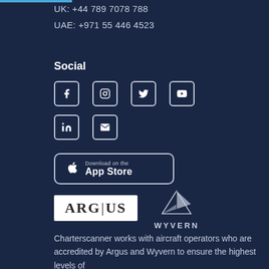UK: +44 789 7078 788
UAE: +971 55 446 4523
Social
[Figure (illustration): Social media icons: Facebook, Instagram, Twitter, YouTube, LinkedIn, Email]
[Figure (illustration): Download on the App Store button]
[Figure (logo): ARGUS logo (white background) and WYVERN logo (paper plane icon with WYVERN text)]
Charterscanner works with aircraft operators who are accredited by Argus and Wyvern to ensure the highest levels of